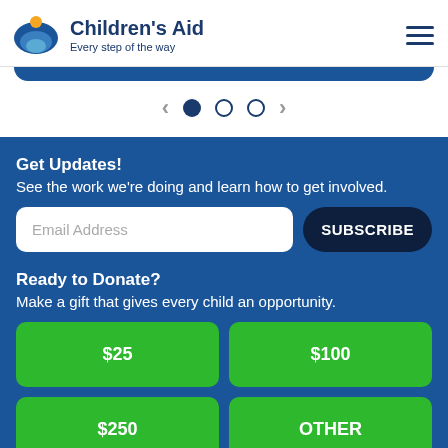[Figure (logo): Children's Aid logo: circular blue wave design with orange sun, and text 'Children's Aid / Every step of the way']
[Figure (screenshot): Carousel navigation with left/right arrows and three pagination dots (first filled, two empty)]
Get Updates!
See the work we're doing and learn how to get involved.
Email Address
SUBSCRIBE
Ready to Donate?
Make a gift that gives every child an opportunity.
$25
$100
$250
OTHER